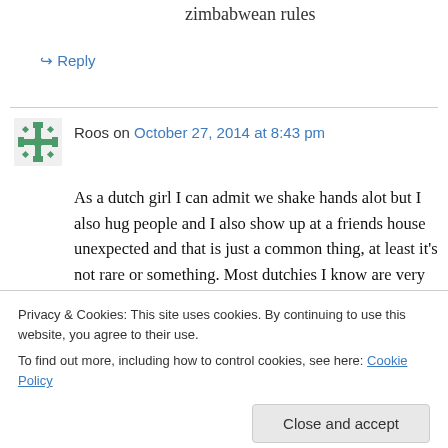zimbabwean rules
↪ Reply
Roos on October 27, 2014 at 8:43 pm
As a dutch girl I can admit we shake hands alot but I also hug people and I also show up at a friends house unexpected and that is just a common thing, at least it's not rare or something. Most dutchies I know are very tolerant and as someone said befor: Amsterdam is probably one
Privacy & Cookies: This site uses cookies. By continuing to use this website, you agree to their use.
To find out more, including how to control cookies, see here: Cookie Policy
Netherlands. I know there are some places in